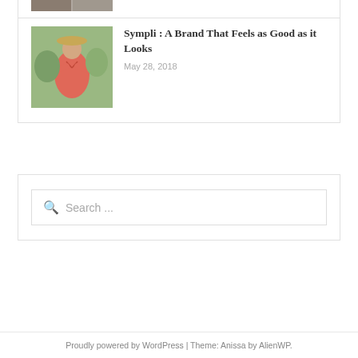[Figure (photo): Thumbnail image at top, partially visible, showing two people]
[Figure (photo): Woman in a pink/coral dress and straw hat standing outdoors]
Sympli : A Brand That Feels as Good as it Looks
May 28, 2018
Search ...
Proudly powered by WordPress | Theme: Anissa by AlienWP.